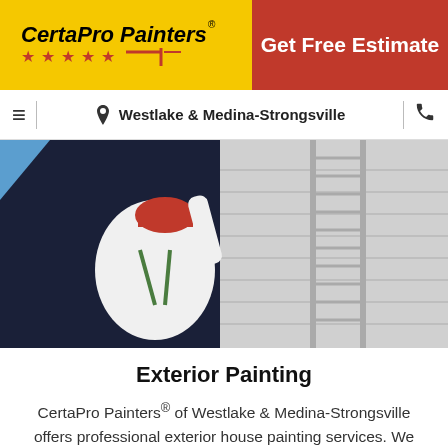[Figure (logo): CertaPro Painters logo with yellow background, brand name in bold italic, red stars row, and red brush icon]
Get Free Estimate
≡  📍 Westlake & Medina-Strongsville  📞
[Figure (photo): Painter in white shirt and red cap climbing an aluminum extension ladder against a white/grey siding building exterior, view from below]
Exterior Painting
CertaPro Painters® of Westlake & Medina-Strongsville offers professional exterior house painting services. We can help with all types of